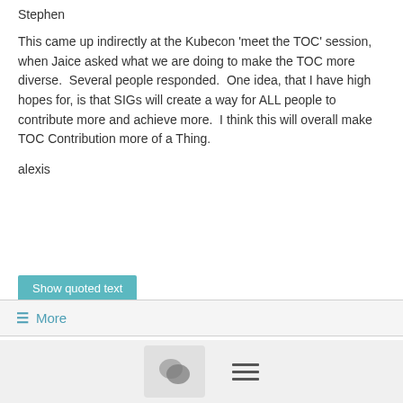Stephen
This came up indirectly at the Kubecon 'meet the TOC' session, when Jaice asked what we are doing to make the TOC more diverse.  Several people responded.  One idea, that I have high hopes for, is that SIGs will create a way for ALL people to contribute more and achieve more.  I think this will overall make TOC Contribution more of a Thing.
alexis
Show quoted text
≡ More
Re: Congrats and Questions!